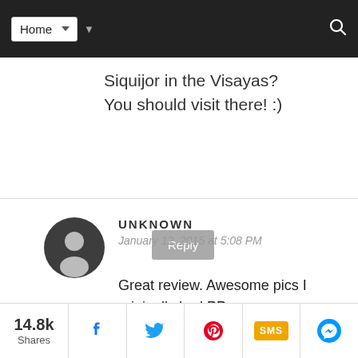Home (navigation dropdown)
Siquijor in the Visayas? You should visit there! :)
Reply
UNKNOWN
January 12, 2015 at 5:08 PM
Great review. Awesome pics I originally had PP as my destination. you've convinced me to add El Nido as well Where did you stay in PP and El
14.8k Shares | Facebook | Twitter | Pinterest | SMS | Messenger